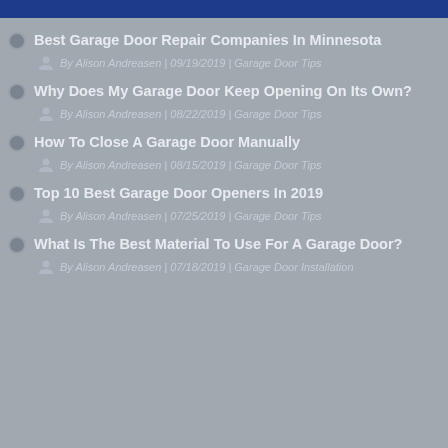Best Garage Door Repair Companies In Minnesota
By Alison Andreasen | 09/19/2019 | Garage Door Tips
Why Does My Garage Door Keep Opening On Its Own?
By Alison Andreasen | 08/22/2019 | Garage Door Tips
How To Close A Garage Door Manually
By Alison Andreasen | 08/15/2019 | Garage Door Tips
Top 10 Best Garage Door Openers In 2019
By Alison Andreasen | 07/25/2019 | Garage Door Tips
What Is The Best Material To Use For A Garage Door?
By Alison Andreasen | 07/18/2019 | Garage Door Installation